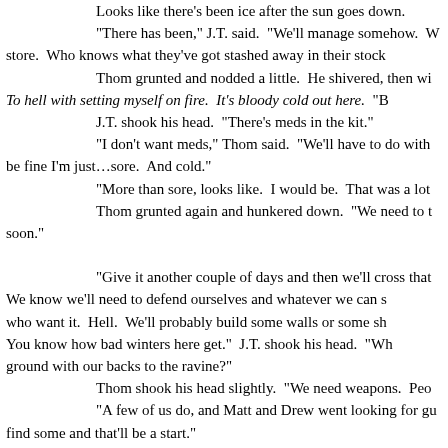Looks like there's been ice after the sun goes down.
"There has been," J.T. said.  "We'll manage somehow. W... store.  Who knows what they've got stashed away in their stock...
Thom grunted and nodded a little.  He shivered, then wi...
To hell with setting myself on fire.  It's bloody cold out here.  "B...
J.T. shook his head.  "There's meds in the kit."
"I don't want meds," Thom said.  "We'll have to do with... be fine I'm just…sore.  And cold."
"More than sore, looks like.  I would be.  That was a lot...
Thom grunted again and hunkered down.  "We need to t... soon."
"Give it another couple of days and then we'll cross that... We know we'll need to defend ourselves and whatever we can s... who want it.  Hell.  We'll probably build some walls or some sh... You know how bad winters here get."  J.T. shook his head.  "Wh... ground with our backs to the ravine?"
Thom shook his head slightly.  "We need weapons.  Peo...
"A few of us do, and Matt and Drew went looking for gu... find some and that'll be a start."